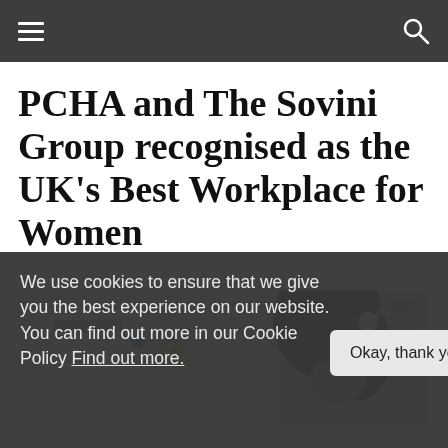Navigation bar with hamburger menu and search icon
PCHA and The Sovini Group recognised as the UK’s Best Workplace for Women
[Figure (photo): A woman with dark hair viewed from behind/side, working in what appears to be a laboratory or technical environment, with equipment visible including a yellow warning sign.]
We use cookies to ensure that we give you the best experience on our website. You can find out more in our Cookie Policy Find out more.